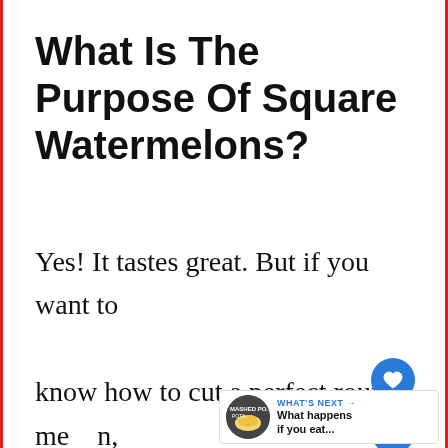What Is The Purpose Of Square Watermelons?
Yes! It tastes great. But if you want to know how to cut a perfect round melon, here is what you need to know. Cut off the top and bottom of the melon. Then